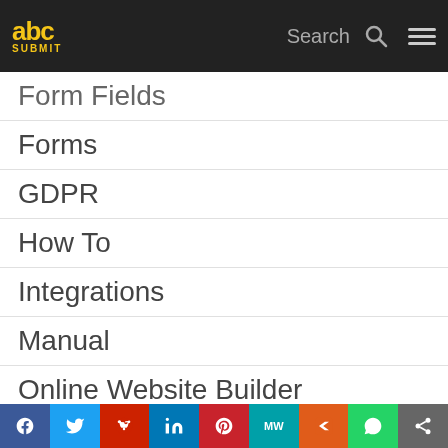abc SUBMIT — Search — Menu
Form Fields
Forms
GDPR
How To
Integrations
Manual
Online Website Builder
Payment Gateways
Uncategorized
Website Fields
f  Twitter  Reddit  in  Pinterest  MW  Mix  WhatsApp  Share